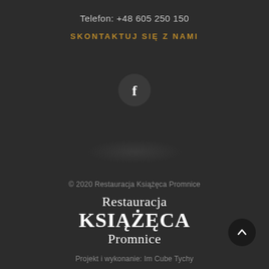Telefon: +48 605 250 150
SKONTAKTUJ SIĘ Z NAMI
[Figure (illustration): Facebook icon inside a dark circle button]
© 2020 Restauracja Książęca Promnice
Restauracja KSIĄŻĘCA Promnice
Projekt i wykonanie: Im Cube Tychy